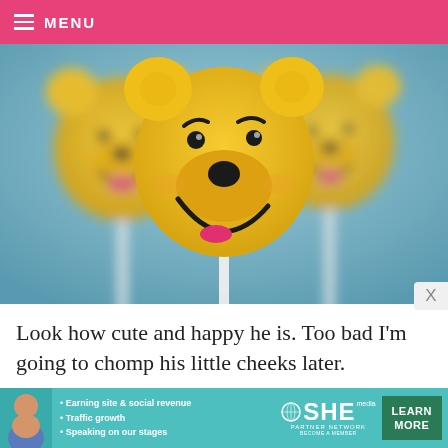MENU
[Figure (photo): Three Winnie-the-Pooh character cake pops on white sticks against a light blue background. The center pop is in focus showing a smiling Pooh face with pink tongue detail.]
Look how cute and happy he is. Too bad I'm going to chomp his little cheeks later.
[Figure (infographic): SHE Partner Network advertisement banner with teal background showing a woman photo, bullet points about earning site & social revenue, traffic growth, speaking on our stages, SHE logo, and a dark green Learn More button.]